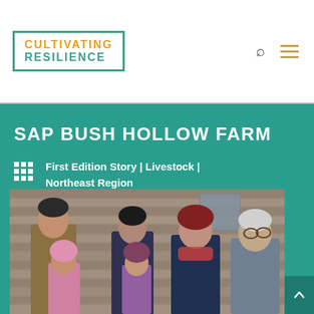[Figure (logo): Cultivating Resilience logo — teal border box with 'CULTIVATING' in orange and 'RESILIENCE' in teal, all caps]
SAP BUSH HOLLOW FARM
First Edition Story | Livestock | Northeast Region
[Figure (photo): Group of five people (family) standing in front of a weathered wooden barn wall, smiling at the camera. Two adults in the back, two children in the middle, one adult on far right.]